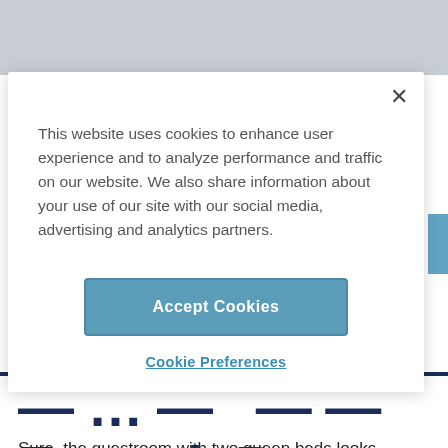This website uses cookies to enhance user experience and to analyze performance and traffic on our website. We also share information about your use of our site with our social media, advertising and analytics partners.
Accept Cookies
Cookie Preferences
Enough Room
Sure, the guestroom with two queen beds looks appealing for your family of four, but is it